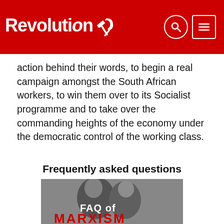Revolution
action behind their words, to begin a real campaign amongst the South African workers, to win them over to its Socialist programme and to take over the commanding heights of the economy under the democratic control of the working class.
Frequently asked questions
[Figure (illustration): Book cover image showing two figures in black and white with text 'FAQ of MARXISM' in bold letters, the word MARXISM in red at the bottom.]